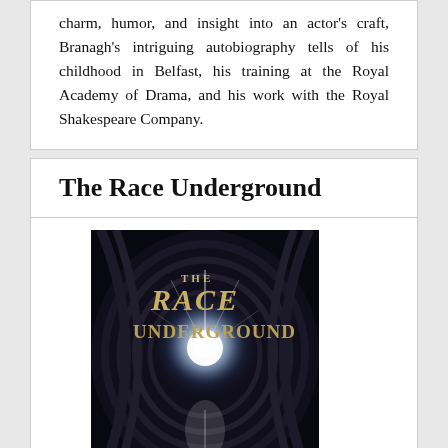charm, humor, and insight into an actor's craft, Branagh's intriguing autobiography tells of his childhood in Belfast, his training at the Royal Academy of Drama, and his work with the Royal Shakespeare Company.
The Race Underground
[Figure (photo): Book cover of 'The Race Underground' showing a dark tunnel with a bright light in the center and text 'BOSTON NEW YON' at the bottom]